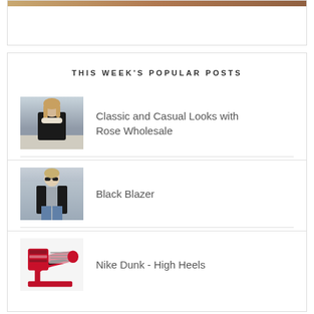[Figure (photo): Partial top image/banner clipped at top of page]
THIS WEEK'S POPULAR POSTS
[Figure (photo): Fashion photo: woman in black coat outdoors]
Classic and Casual Looks with Rose Wholesale
[Figure (photo): Fashion photo: woman in black blazer and jeans]
Black Blazer
[Figure (photo): Product photo: pink Nike Dunk high heel shoe]
Nike Dunk - High Heels